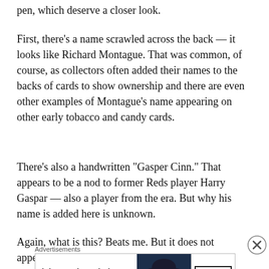pen, which deserve a closer look.
First, there’s a name scrawled across the back — it looks like Richard Montague. That was common, of course, as collectors often added their names to the backs of cards to show ownership and there are even other examples of Montague’s name appearing on other early tobacco and candy cards.
There’s also a handwritten “Gasper Cinn.” That appears to be a nod to former Reds player Harry Gaspar — also a player from the era. But why his name is added here is unknown.
Again, what is this? Beats me. But it does not appear to
[Figure (other): Bloomingdale's advertisement banner with text 'View Today’s Top Deals!' and 'SHOP NOW >' button, with woman in wide-brim hat photo]